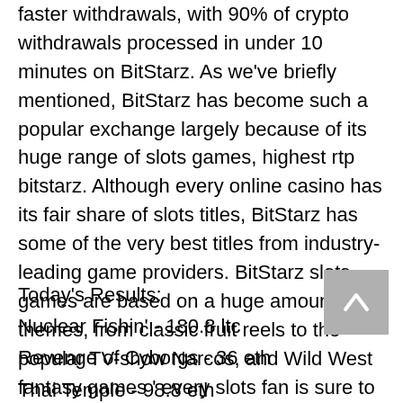faster withdrawals, with 90% of crypto withdrawals processed in under 10 minutes on BitStarz. As we've briefly mentioned, BitStarz has become such a popular exchange largely because of its huge range of slots games, highest rtp bitstarz. Although every online casino has its fair share of slots titles, BitStarz has some of the very best titles from industry-leading game providers. BitStarz slots games are based on a huge amount of themes, from classic fruit reels to the popular TV-show Narcos, and Wild West fantasy games ' every slots fan is sure to find a favorite.
Today's Results:
Nuclear Fishin' - 180.8 ltc
Revenge of Cyborgs - 36 eth
Thai Temple - 98.8 eth
Gift Rap - 602.9 bch
Crystal Queen - 88.2 btc